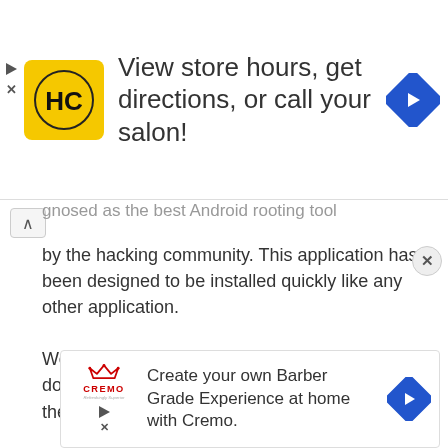[Figure (infographic): Top advertisement banner with HC logo (yellow square with black HC letters), text 'View store hours, get directions, or call your salon!', and a blue diamond navigation arrow icon on the right. Play and X controls on the left edge.]
...gnosed as the best Android rooting tool by the hacking community. This application has been designed to be installed quickly like any other application.
We will not detail here the process of downloading the application and let you go on the web and find it yourself.
Although originally released for some version of Android, it...
[Figure (infographic): Bottom advertisement banner with Cremo logo (red crown with 'CREMO' text and italic tagline), text 'Create your own Barber Grade Experience at home with Cremo.', and a blue diamond navigation arrow icon on the right.]